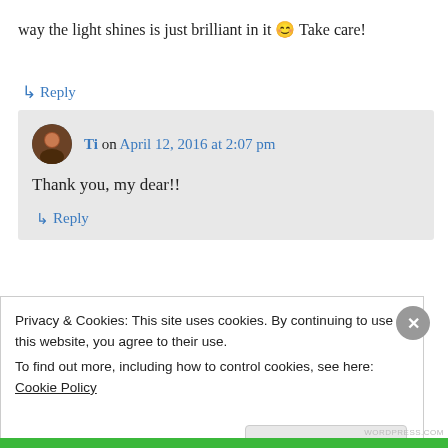way the light shines is just brilliant in it 😊 Take care!
↳ Reply
Ti on April 12, 2016 at 2:07 pm
Thank you, my dear!!
↳ Reply
[Figure (photo): Partial view of a blog image with blue-green gradient and gold tones]
Privacy & Cookies: This site uses cookies. By continuing to use this website, you agree to their use.
To find out more, including how to control cookies, see here: Cookie Policy
Close and accept